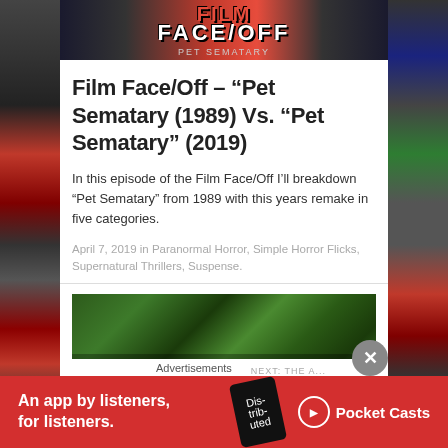[Figure (photo): Film Face/Off banner image at top of article, showing red text logo on dark background]
Film Face/Off – “Pet Sematary (1989) Vs. “Pet Sematary” (2019)
In this episode of the Film Face/Off I’ll breakdown “Pet Sematary” from 1989 with this years remake in five categories.
April 7, 2019 in Paranormal Horror, Simple Horror Flicks, Supernatural Thrillers, Suspense.
[Figure (photo): A scene from Pet Sematary showing a figure in a forest with green foliage]
Advertisements
[Figure (other): Pocket Casts advertisement banner: An app by listeners, for listeners. Red background with phone graphic and Pocket Casts logo.]